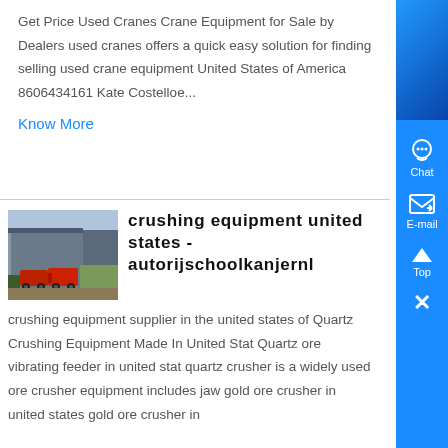Get Price Used Cranes Crane Equipment for Sale by Dealers used cranes offers a quick easy solution for finding selling used crane equipment United States of America 8606434161 Kate Costelloe...
Know More
[Figure (photo): Thumbnail photo of crushing equipment or industrial trucks/machinery at a facility.]
crushing equipment united states - autorijschoolkanjernl
crushing equipment supplier in the united states of Quartz Crushing Equipment Made In United Stat Quartz ore vibrating feeder in united stat quartz crusher is a widely used ore crusher equipment includes jaw gold ore crusher in united states gold ore crusher in